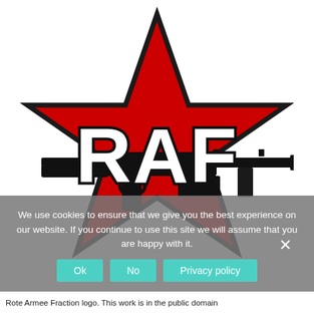[Figure (logo): Rote Armee Fraktion (RAF) logo: a red five-pointed star with black outline, the letters RAF in bold white with black outline across the center, and a black stylized submachine gun (MP5 or similar) overlaid horizontally across the star.]
We use cookies to ensure that we give you the best experience on our website. If you continue to use this site we will assume that you are happy with it.
Rote Armee Fraction logo. This work is in the public domain